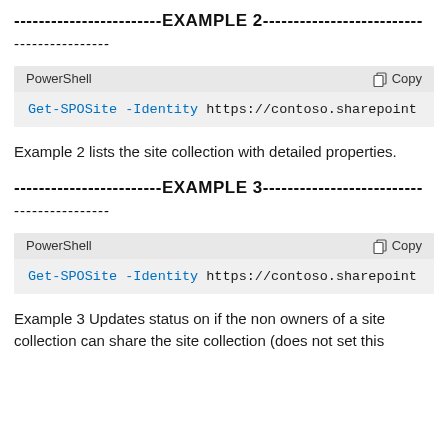------------------------EXAMPLE 2--------------------------
----------------
[Figure (screenshot): PowerShell code block with toolbar showing 'PowerShell' label and 'Copy' button. Code: Get-SPOSite -Identity https://contoso.sharepoint...]
Example 2 lists the site collection with detailed properties.
------------------------EXAMPLE 3--------------------------
----------------
[Figure (screenshot): PowerShell code block with toolbar showing 'PowerShell' label and 'Copy' button. Code: Get-SPOSite -Identity https://contoso.sharepoint...]
Example 3 Updates status on if the non owners of a site collection can share the site collection (does not set this